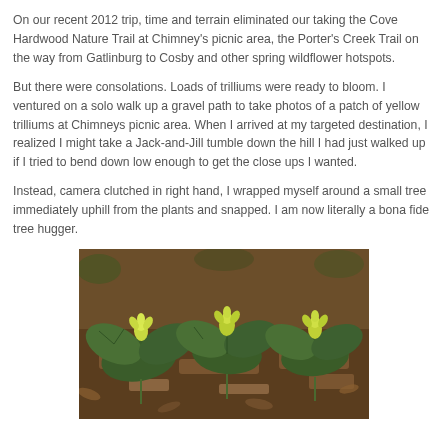On our recent 2012 trip, time and terrain eliminated our taking the Cove Hardwood Nature Trail at Chimney's picnic area, the Porter's Creek Trail on the way from Gatlinburg to Cosby and other spring wildflower hotspots.
But there were consolations. Loads of trilliums were ready to bloom. I ventured on a solo walk up a gravel path to take photos of a patch of yellow trilliums at Chimneys picnic area. When I arrived at my targeted destination, I realized I might take a Jack-and-Jill tumble down the hill I had just walked up if I tried to bend down low enough to get the close ups I wanted.
Instead, camera clutched in right hand, I wrapped myself around a small tree immediately uphill from the plants and snapped. I am now literally a bona fide tree hugger.
[Figure (photo): Photo of yellow trillium plants growing on a forest floor with dark soil and leaf litter, green leaves visible]